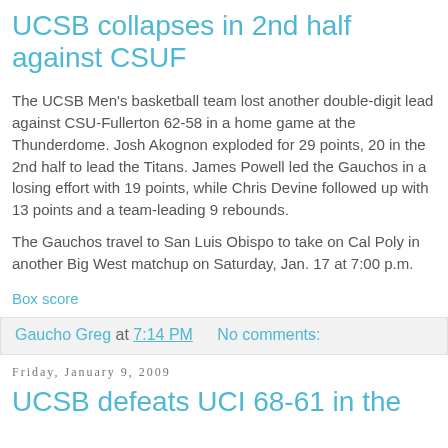UCSB collapses in 2nd half against CSUF
The UCSB Men's basketball team lost another double-digit lead against CSU-Fullerton 62-58 in a home game at the Thunderdome. Josh Akognon exploded for 29 points, 20 in the 2nd half to lead the Titans. James Powell led the Gauchos in a losing effort with 19 points, while Chris Devine followed up with 13 points and a team-leading 9 rebounds.
The Gauchos travel to San Luis Obispo to take on Cal Poly in another Big West matchup on Saturday, Jan. 17 at 7:00 p.m.
Box score
Gaucho Greg at 7:14 PM   No comments:
Friday, January 9, 2009
UCSB defeats UCI 68-61 in the